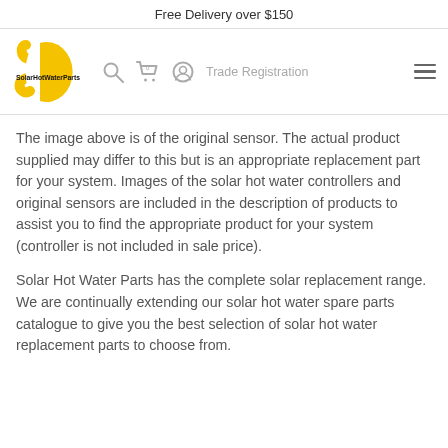Free Delivery over $150
[Figure (logo): SolarHotWaterParts logo with yellow stylized sun/wrench shape and bold black text 'SolarHotWaterParts']
The image above is of the original sensor. The actual product supplied may differ to this but is an appropriate replacement part for your system. Images of the solar hot water controllers and original sensors are included in the description of products to assist you to find the appropriate product for your system (controller is not included in sale price).
Solar Hot Water Parts has the complete solar replacement range. We are continually extending our solar hot water spare parts catalogue to give you the best selection of solar hot water replacement parts to choose from.